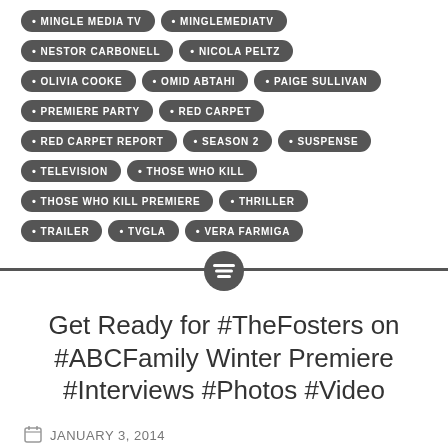MINGLE MEDIA TV
MINGLEMEDIATV
NESTOR CARBONELL
NICOLA PELTZ
OLIVIA COOKE
OMID ABTAHI
PAIGE SULLIVAN
PREMIERE PARTY
RED CARPET
RED CARPET REPORT
SEASON 2
SUSPENSE
TELEVISION
THOSE WHO KILL
THOSE WHO KILL PREMIERE
THRILLER
TRAILER
TVGLA
VERA FARMIGA
Get Ready for #TheFosters on #ABCFamily Winter Premiere #Interviews #Photos #Video
JANUARY 3, 2014